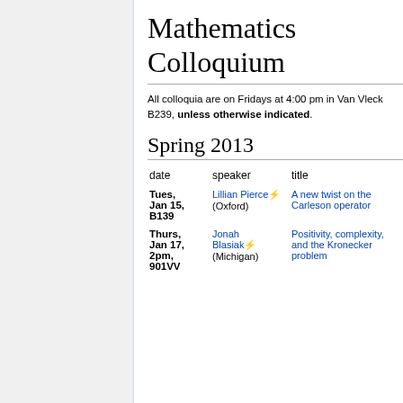Mathematics Colloquium
All colloquia are on Fridays at 4:00 pm in Van Vleck B239, unless otherwise indicated.
Spring 2013
| date | speaker | title |
| --- | --- | --- |
| Tues, Jan 15, B139 | Lillian Pierce (Oxford) | A new twist on the Carleson operator |
| Thurs, Jan 17, 2pm, 901VV | Jonah Blasiak (Michigan) | Positivity, complexity, and the Kronecker problem |